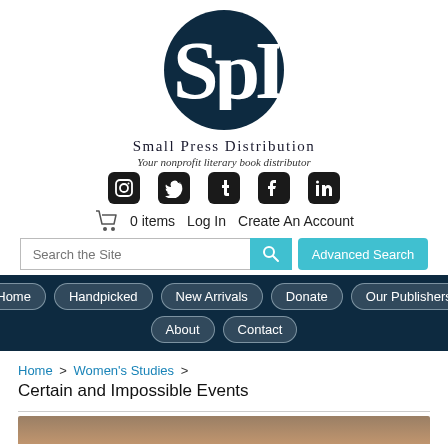[Figure (logo): SPD Small Press Distribution logo: dark navy circle with white serif letters S, P, D]
Small Press Distribution
Your nonprofit literary book distributor
[Figure (infographic): Row of five social media icons: Instagram, Twitter, Tumblr, Facebook, LinkedIn]
0 items  Log In  Create An Account
Search the Site   Advanced Search
[Figure (screenshot): Navigation bar with buttons: Home, Handpicked, New Arrivals, Donate, Our Publishers, About, Contact]
Home > Women's Studies > Certain and Impossible Events
[Figure (photo): Partial view of book cover image at bottom of page]